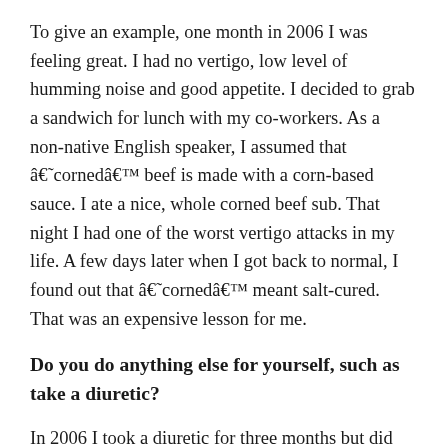To give an example, one month in 2006 I was feeling great. I had no vertigo, low level of humming noise and good appetite. I decided to grab a sandwich for lunch with my co-workers. As a non-native English speaker, I assumed that â€˜cornedâ€™ beef is made with a corn-based sauce. I ate a nice, whole corned beef sub. That night I had one of the worst vertigo attacks in my life. A few days later when I got back to normal, I found out that â€˜cornedâ€™ meant salt-cured. That was an expensive lesson for me.
Do you do anything else for yourself, such as take a diuretic?
In 2006 I took a diuretic for three months but did not receive any benefit from it. I believe the only drug I benefited from was SERC (betahistine), which I took for nine months. I also followed a low sodium diet and carefully watched my daily stress level during the same